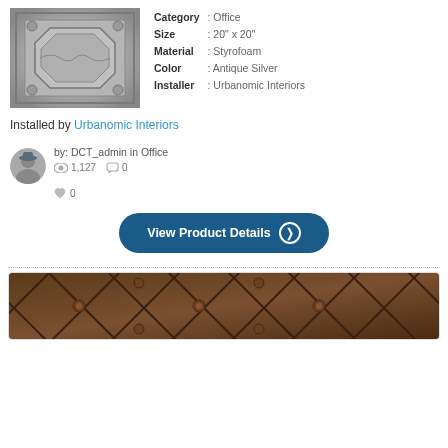[Figure (photo): Antique silver decorative ceiling tile with octagonal center and ornate border]
| Category | : Office |
| Size | : 20" x 20" |
| Material | : Styrofoam |
| Color | : Antique Silver |
| Installer | : Urbanomic Interiors |
Installed by Urbanomic Interiors
[Figure (photo): Avatar photo of DCT_admin user]
by: DCT_admin in Office  1,127  0  0
View Product Details
[Figure (photo): Brown decorative ceiling tile with diagonal diamond pattern and floral motifs]